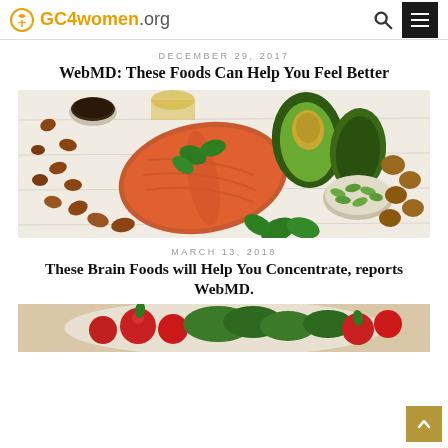GC4women.org
DECEMBER 29, 2017
WebMD: These Foods Can Help You Feel Better
[Figure (photo): Top-down food photo showing salmon steak, avocado halves, nuts (almonds, walnuts, hazelnuts), seeds in a bowl, fresh basil leaves, pumpkin seeds in a bowl, and oil in a glass, arranged on a white wooden surface.]
MARCH 13, 2018
These Brain Foods will Help You Concentrate, reports WebMD.
[Figure (photo): Top-down photo showing colorful vegetables including red tomatoes and green leafy vegetables on a plate.]